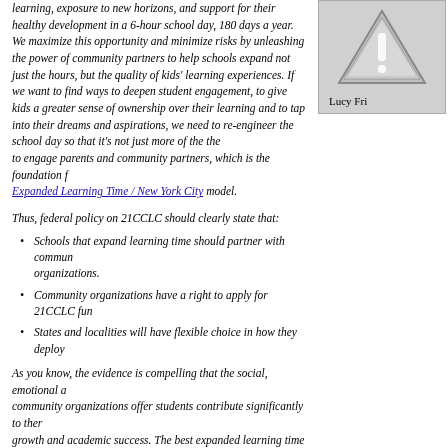learning, exposure to new horizons, and support for their healthy development in a 6-hour school day, 180 days a year. We maximize this opportunity and minimize risks by unleashing the power of community partners to help schools expand not just the hours, but the quality of kids' learning experiences. If we want to find ways to deepen student engagement, to give kids a greater sense of ownership over their learning and to tap into their dreams and aspirations, we need to re-engineer the school day so that it's not just more of the same, but to engage parents and community partners, which is the foundation for the Expanded Learning Time / New York City model.
[Figure (illustration): Warning triangle icon with exclamation mark on grey background. Text below reads: Lucy Fri...]
Thus, federal policy on 21CCLC should clearly state that:
Schools that expand learning time should partner with community organizations.
Community organizations have a right to apply for 21CCLC fun...
States and localities will have flexible choice in how they deploy...
As you know, the evidence is compelling that the social, emotional and community organizations offer students contribute significantly to their growth and academic success. The best expanded learning time app...